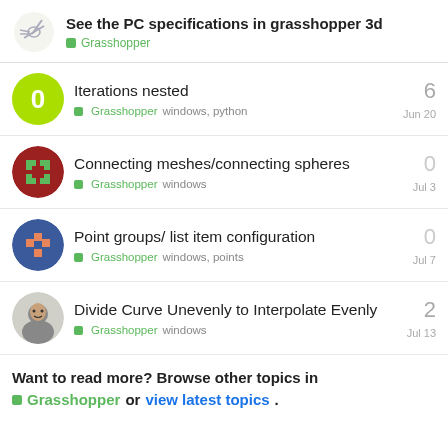See the PC specifications in grasshopper 3d — Grasshopper
Iterations nested | Grasshopper, windows, python | 6 replies | Jun 20
Connecting meshes/connecting spheres | Grasshopper, windows | 0 replies | Jul 3
Point groups/ list item configuration | Grasshopper, windows, points | 0 replies | Jul 7
Divide Curve Unevenly to Interpolate Evenly | Grasshopper, windows | 2 replies | Jul 13
Want to read more? Browse other topics in Grasshopper or view latest topics.